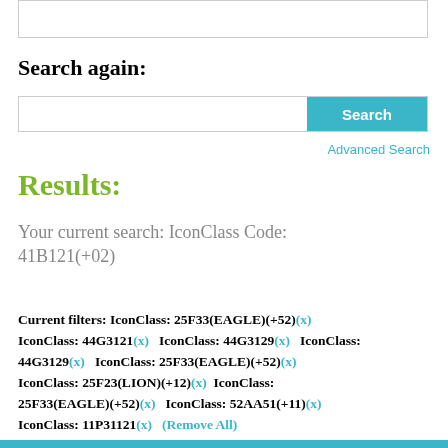[Figure (screenshot): Top portion of a search result page, showing a white input box area at the top]
Search again:
[Figure (screenshot): Search bar with text input field and a cyan 'Search' button on the right]
Advanced Search
Results:
Your current search: IconClass Code: 41B121(+02)
Current filters: IconClass: 25F33(EAGLE)(+52)(x) IconClass: 44G3121(x)   IconClass: 44G3129(x)   IconClass: 44G3129(x)   IconClass: 25F33(EAGLE)(+52)(x) IconClass: 25F23(LION)(+12)(x)  IconClass: 25F33(EAGLE)(+52)(x)  IconClass: 52AA51(+11)(x) IconClass: 11P31121(x)   (Remove All)